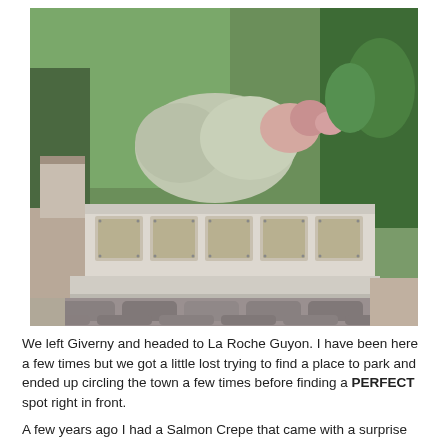[Figure (photo): Photograph of a cemetery grave monument with white/light stone structure, multiple bronze plaques on the front, and lush green plants and flowers growing on top. The path in front is paved with large cobblestones. Green hedges and trees surround the area.]
We left Giverny and headed to La Roche Guyon.  I have been here a few times but we got a little lost trying to find a place to park and ended up circling the town a few times before finding a PERFECT spot right in front.
A few years ago I had a Salmon Crepe that came with a surprise